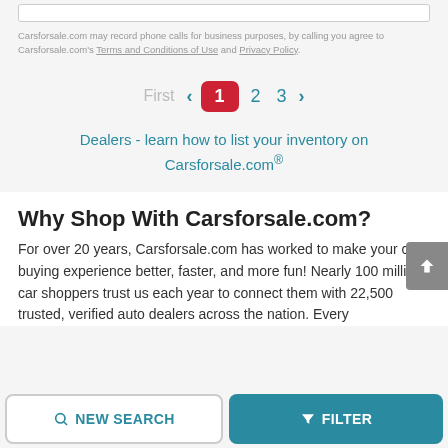Carsforsale.com may record phone calls for business purposes, by calling you agree to Carsforsale.com's Terms and Conditions of Use and Privacy Policy.
First  <  1  2  3  >
Dealers - learn how to list your inventory on Carsforsale.com®
Why Shop With Carsforsale.com?
For over 20 years, Carsforsale.com has worked to make your car buying experience better, faster, and more fun! Nearly 100 million car shoppers trust us each year to connect them with 22,500 trusted, verified auto dealers across the nation. Every
NEW SEARCH    FILTER